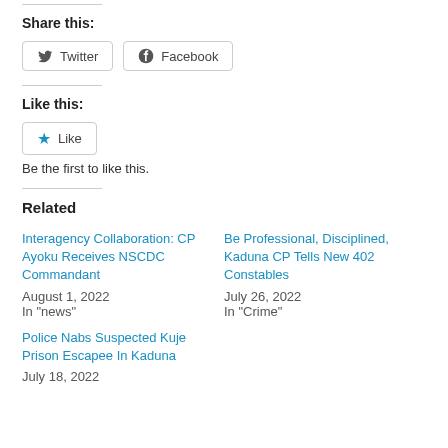Share this:
Twitter  Facebook
Like this:
Like
Be the first to like this.
Related
Interagency Collaboration: CP Ayoku Receives NSCDC Commandant
August 1, 2022
In "news"
Be Professional, Disciplined, Kaduna CP Tells New 402 Constables
July 26, 2022
In "Crime"
Police Nabs Suspected Kuje Prison Escapee In Kaduna
July 18, 2022